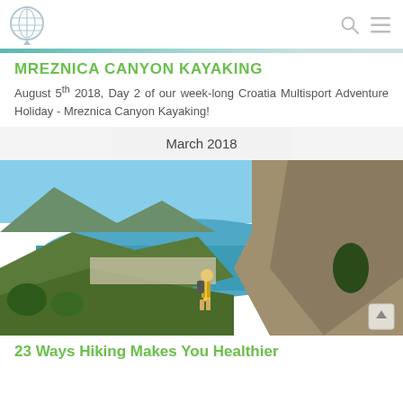[Logo icon] [Search icon] [Menu icon]
MREZNICA CANYON KAYAKING
August 5th 2018, Day 2 of our week-long Croatia Multisport Adventure Holiday - Mreznica Canyon Kayaking!
March 2018
[Figure (photo): A hiker in a yellow jacket standing on a rocky hillside overlooking a coastal town with turquoise sea and dramatic mountain cliffs in the background.]
23 Ways Hiking Makes You Healthier